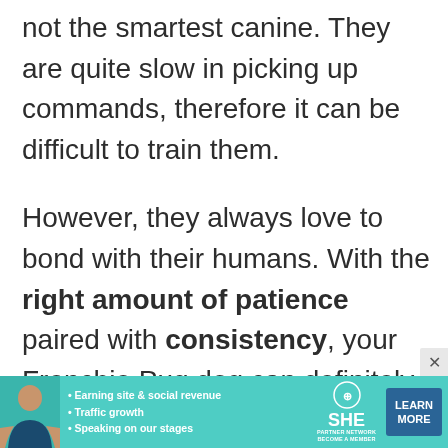not the smartest canine. They are quite slow in picking up commands, therefore it can be difficult to train them.
However, they always love to bond with their humans. With the right amount of patience paired with consistency, your Frenchie Pug dog can definitely learn basic commands and a few tricks. They can be a little stubborn but training
[Figure (other): Advertisement banner for SHE Media Partner Network featuring a woman's photo, bullet points about earning site & social revenue, traffic growth, speaking on stages, SHE logo with partner network text, and a Learn More button]